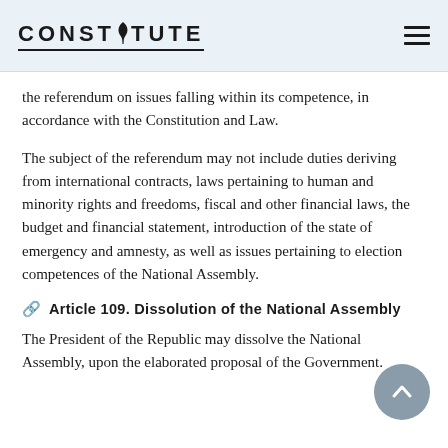CONSTITUTE
the referendum on issues falling within its competence, in accordance with the Constitution and Law.
The subject of the referendum may not include duties deriving from international contracts, laws pertaining to human and minority rights and freedoms, fiscal and other financial laws, the budget and financial statement, introduction of the state of emergency and amnesty, as well as issues pertaining to election competences of the National Assembly.
Article 109. Dissolution of the National Assembly
The President of the Republic may dissolve the National Assembly, upon the elaborated proposal of the Government.